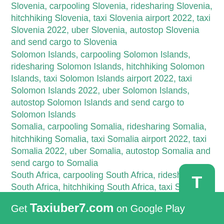Slovenia, carpooling Slovenia, ridesharing Slovenia, hitchhiking Slovenia, taxi Slovenia airport 2022, taxi Slovenia 2022, uber Slovenia, autostop Slovenia and send cargo to Slovenia
Solomon Islands, carpooling Solomon Islands, ridesharing Solomon Islands, hitchhiking Solomon Islands, taxi Solomon Islands airport 2022, taxi Solomon Islands 2022, uber Solomon Islands, autostop Solomon Islands and send cargo to Solomon Islands
Somalia, carpooling Somalia, ridesharing Somalia, hitchhiking Somalia, taxi Somalia airport 2022, taxi Somalia 2022, uber Somalia, autostop Somalia and send cargo to Somalia
South Africa, carpooling South Africa, ridesharing South Africa, hitchhiking South Africa, taxi South Africa airport 2022, taxi South Africa 2022, uber South Africa, autostop South Africa and send cargo to South Africa
South Korea, carpooling South Korea, ridesharing South Korea, hitchhiking South Korea, taxi South Korea airport 2022, taxi South Korea 2022, uber South Korea, autostop South Korea and send cargo to South Korea
Spain, carpooling Spain, ridesharing Spain, hitchhiking Spain, taxi Spain airport 2022, taxi Spain 2022, uber Spain, autostop Spain and send cargo to
Get Taxiuber7.com on Google Play